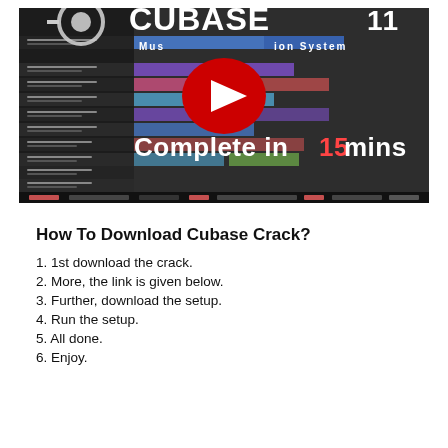[Figure (screenshot): YouTube video thumbnail showing Cubase 11 Music Production System with text 'Complete in 15 mins' and a YouTube play button overlay]
How To Download Cubase Crack?
1. 1st download the crack.
2. More, the link is given below.
3. Further, download the setup.
4. Run the setup.
5. All done.
6. Enjoy.